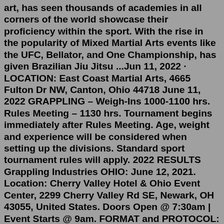art, has seen thousands of academies in all corners of the world showcase their proficiency within the sport. With the rise in the popularity of Mixed Martial Arts events like the UFC, Bellator, and One Championship, has given Brazilian Jiu Jitsu ...Jun 11, 2022 · LOCATION: East Coast Martial Arts, 4665 Fulton Dr NW, Canton, Ohio 44718 June 11, 2022 GRAPPLING – Weigh-Ins 1000-1100 hrs. Rules Meeting – 1130 hrs. Tournament begins immediately after Rules Meeting. Age, weight and experience will be considered when setting up the divisions. Standard sport tournament rules will apply. 2022 RESULTS Grappling Industries OHIO: June 12, 2021. Location: Cherry Valley Hotel & Ohio Event Center, 2299 Cherry Valley Rd SE, Newark, OH 43055, United States. Doors Open @ 7:30am | Event Starts @ 9am. FORMAT and PROTOCOL: Grappling Industries tournaments follow a Round Robin Pool format meaning that all adult competitors get 4 matches for signing up ...mini skirt band members » jiu jitsu tournaments ohio 2022. ... 01 Jul July 1, 2022. jiu jitsu